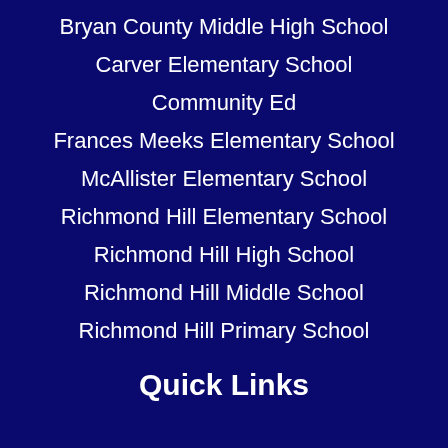Bryan County Middle High School
Carver Elementary School
Community Ed
Frances Meeks Elementary School
McAllister Elementary School
Richmond Hill Elementary School
Richmond Hill High School
Richmond Hill Middle School
Richmond Hill Primary School
Quick Links